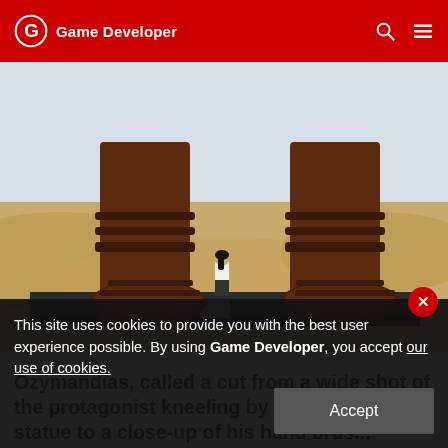Game Developer
[Figure (screenshot): Game screenshot showing a small human character standing on a dark platform beside massive feet and ankles of a giant statue, set in a desert landscape with sand dunes and pale sky.]
Ozymandias, called a cut from a wide shot of the protagonist kneeling by the eponymous statue to a close-up of his hand brushing a plaque and away fro...
This site uses cookies to provide you with the best user experience possible. By using Game Developer, you accept our use of cookies.